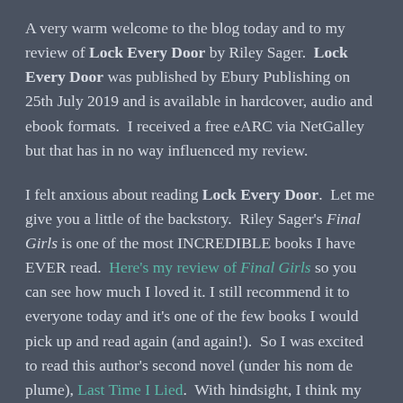A very warm welcome to the blog today and to my review of Lock Every Door by Riley Sager.  Lock Every Door was published by Ebury Publishing on 25th July 2019 and is available in hardcover, audio and ebook formats.  I received a free eARC via NetGalley but that has in no way influenced my review.
I felt anxious about reading Lock Every Door.  Let me give you a little of the backstory.  Riley Sager's Final Girls is one of the most INCREDIBLE books I have EVER read.  Here's my review of Final Girls so you can see how much I loved it. I still recommend it to everyone today and it's one of the few books I would pick up and read again (and again!).  So I was excited to read this author's second novel (under his nom de plume), Last Time I Lied.  With hindsight, I think my expectations were too high when I